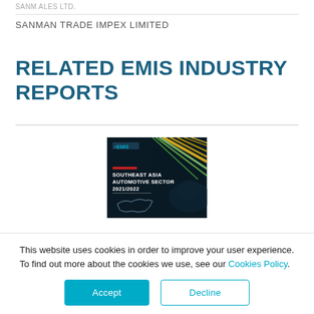SANMAN TRADE IMPEX LIMITED
RELATED EMIS INDUSTRY REPORTS
[Figure (photo): Cover of EMIS Southeast Asia Automotive Sector 2021/2022 industry report, dark background with car and map imagery, EMIS logo at top.]
This website uses cookies in order to improve your user experience. To find out more about the cookies we use, see our Cookies Policy.
Accept
Decline